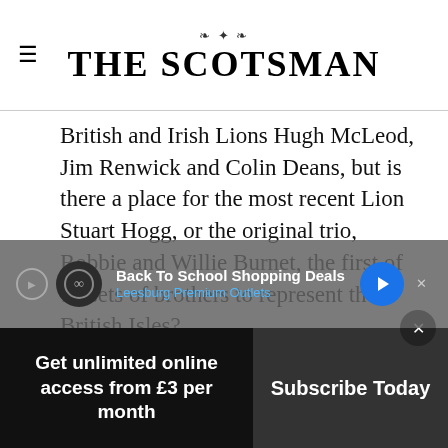THE SCOTSMAN
British and Irish Lions Hugh McLeod, Jim Renwick and Colin Deans, but is there a place for the most recent Lion Stuart Hogg, or the original trio, Robbie and Willie Burnet, the first of 12 sets of brothers to represent the British Isles?
How they settled on a back row from among Derrick and Oliver Grant, Willie Welsh, Derek Turnbull, Dave and Rob Valentine, Adam Robson...and other...
[Figure (screenshot): Advertisement banner: Back To School Shopping Deals - Leesburg Premium Outlets]
Get unlimited online access from £3 per month | Subscribe Today